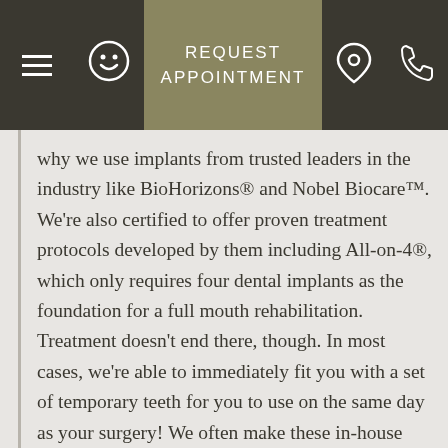REQUEST APPOINTMENT
why we use implants from trusted leaders in the industry like BioHorizons® and Nobel Biocare™. We're also certified to offer proven treatment protocols developed by them including All-on-4®, which only requires four dental implants as the foundation for a full mouth rehabilitation. Treatment doesn't end there, though. In most cases, we're able to immediately fit you with a set of temporary teeth for you to use on the same day as your surgery! We often make these in-house and can customize them to you right in our office. You'll leave with a